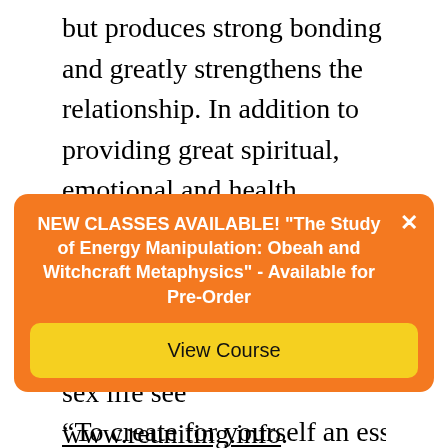but produces strong bonding and greatly strengthens the relationship. In addition to providing great spiritual, emotional and health benefits, Karezza is also an effective birth-control method. For a similar approach to a harmonious sex life see www.reuniting.info.
[Figure (infographic): Orange notification banner: NEW CLASSES AVAILABLE! 'The Study of Energy Manipulation: Obeah and Witchcraft Metaphysics' - Available for Pre-Order, with a yellow 'View Course' button and an X close button.]
“To create for yourself an essentially better A...